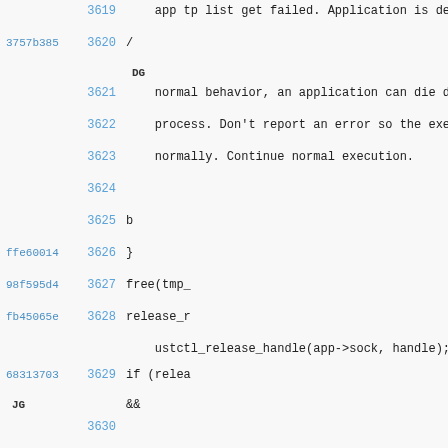| commit | line | code |
| --- | --- | --- |
|  | 3619 |     app tp list get failed. Application is de |
| 3757b385 | 3620 | / |
| DG |  |  |
|  | 3621 |     normal behavior, an application can die d |
|  | 3622 |     process. Don't report an error so the exe |
|  | 3623 |     normally. Continue normal execution. |
|  | 3624 |  |
|  | 3625 | b |
| ffe60014 | 3626 | } |
| 98f595d4 | 3627 | free(tmp_ |
| fb45065e | 3628 | release_r
        ustctl_release_handle(app->sock, handle); |
| 68313703 | 3629 | if (relea |
| JG |  | && |
|  | 3630 |  |